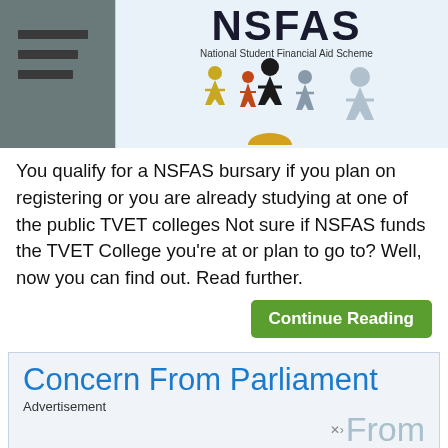[Figure (photo): NSFAS (National Student Financial Aid Scheme) banner/sign with logo text and colorful human figures, left side shows dark background with horizontal bars]
You qualify for a NSFAS bursary if you plan on registering or you are already studying at one of the public TVET colleges Not sure if NSFAS funds the TVET College you’re at or plan to go to? Well, now you can find out. Read further.
Continue Reading
Concern From Parliament
Advertisement
×› From